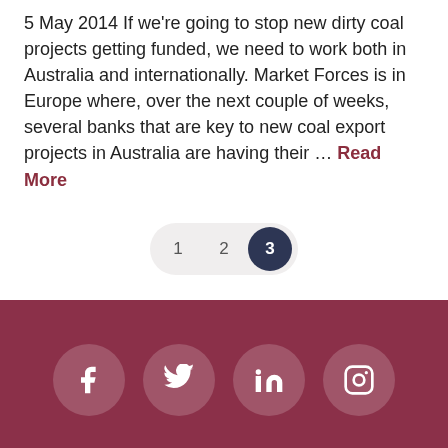5 May 2014 If we're going to stop new dirty coal projects getting funded, we need to work both in Australia and internationally. Market Forces is in Europe where, over the next couple of weeks, several banks that are key to new coal export projects in Australia are having their … Read More
[Figure (other): Pagination bar with buttons 1, 2, and 3 (active, dark background)]
[Figure (other): Footer bar in dark rose/maroon color with social media icons: Facebook, Twitter, LinkedIn, Instagram]